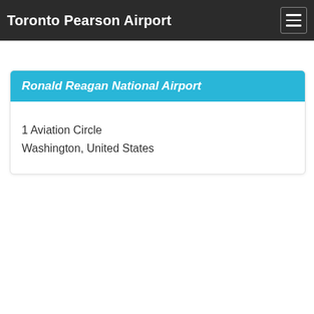Toronto Pearson Airport
Ronald Reagan National Airport
1 Aviation Circle
Washington, United States